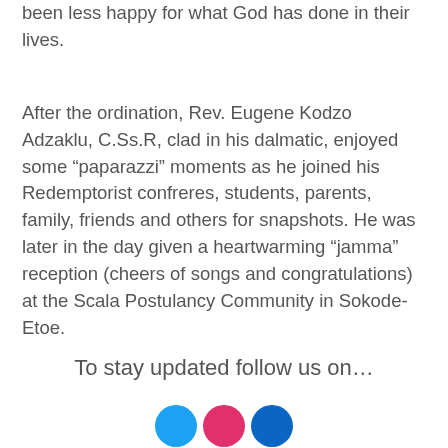been less happy for what God has done in their lives.
After the ordination, Rev. Eugene Kodzo Adzaklu, C.Ss.R, clad in his dalmatic, enjoyed some “paparazzi” moments as he joined his Redemptorist confreres, students, parents, family, friends and others for snapshots. He was later in the day given a heartwarming “jamma” reception (cheers of songs and congratulations) at the Scala Postulancy Community in Sokode-Etoe.
To stay updated follow us on…
[Figure (illustration): Three social media icon circles: blue (Twitter), pink (Instagram), dark blue (LinkedIn), partially visible at bottom of page]